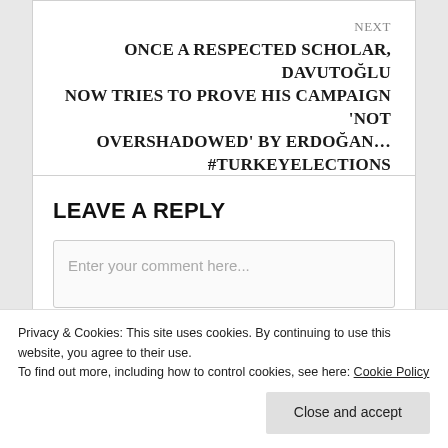NEXT
ONCE A RESPECTED SCHOLAR, DAVUTOĞLU NOW TRIES TO PROVE HIS CAMPAIGN 'NOT OVERSHADOWED' BY ERDOĞAN… #TURKEYELECTIONS
LEAVE A REPLY
Enter your comment here...
Privacy & Cookies: This site uses cookies. By continuing to use this website, you agree to their use. To find out more, including how to control cookies, see here: Cookie Policy
Close and accept